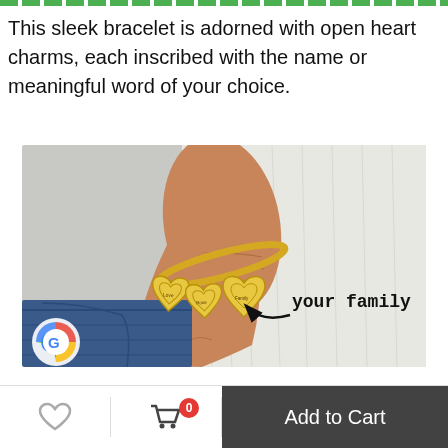This sleek bracelet is adorned with open heart charms, each inscribed with the name or meaningful word of your choice.
[Figure (photo): A person's wrist wearing a gold bangle bracelet with three open heart charms inscribed with names. An arrow and label 'your family' points to the charms. A Google logo is visible in the lower left corner of the image.]
Add to Cart